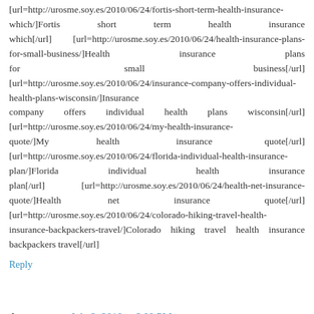[url=http://urosme.soy.es/2010/06/24/fortis-short-term-health-insurance-which/]Fortis short term health insurance which[/url] [url=http://urosme.soy.es/2010/06/24/health-insurance-plans-for-small-business/]Health insurance plans for small business[/url] [url=http://urosme.soy.es/2010/06/24/insurance-company-offers-individual-health-plans-wisconsin/]Insurance company offers individual health plans wisconsin[/url] [url=http://urosme.soy.es/2010/06/24/my-health-insurance-quote/]My health insurance quote[/url] [url=http://urosme.soy.es/2010/06/24/florida-individual-health-insurance-plan/]Florida individual health insurance plan[/url] [url=http://urosme.soy.es/2010/06/24/health-net-insurance-quote/]Health net insurance quote[/url] [url=http://urosme.soy.es/2010/06/24/colorado-hiking-travel-health-insurance-backpackers-travel/]Colorado hiking travel health insurance backpackers travel[/url]
Reply
Anonymous July 2, 2010 at 6:00 PM
new guys! equal the latest unhind